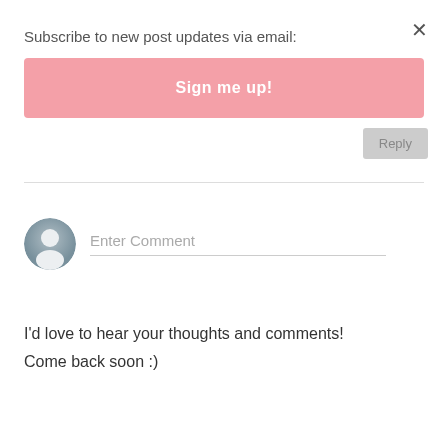Subscribe to new post updates via email:
Sign me up!
Reply
[Figure (illustration): User avatar icon — gray circular silhouette with person icon]
Enter Comment
I'd love to hear your thoughts and comments!
Come back soon :)